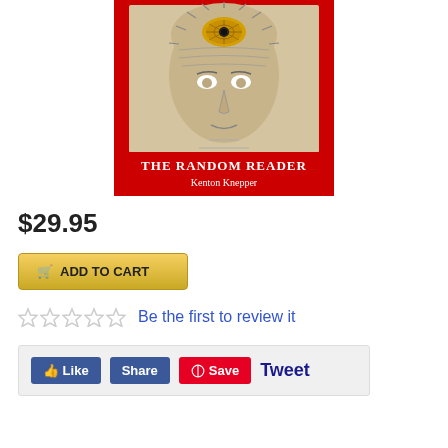[Figure (photo): Book cover for 'The Random Reader' by Kenton Knepper. Red background with a phrenology-style head illustration showing an eye/third eye motif with radiating lines. White bold title text 'THE RANDOM READER' and gothic-style 'Kenton Knepper' below.]
$29.95
ADD TO CART
Be the first to review it
Like  Share  Save  Tweet